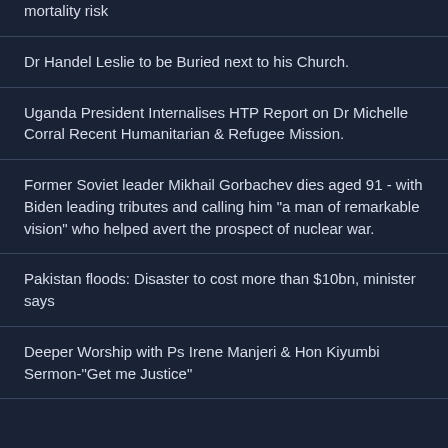mortality risk
Dr Handel Leslie to be Buried next to his Church.
Uganda President Internalises HTP Report on Dr Michelle Corral Recent Humanitarian & Refugee Mission.
Former Soviet leader Mikhail Gorbachev dies aged 91 - with Biden leading tributes and calling him "a man of remarkable vision" who helped avert the prospect of nuclear war.
Pakistan floods: Disaster to cost more than $10bn, minister says
Deeper Worship with Ps Irene Manjeri & Hon Kiyumbi Sermon-"Get me Justice"